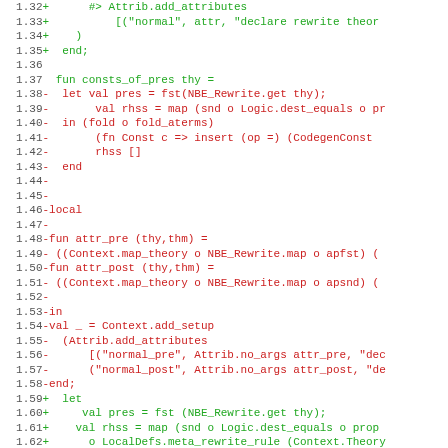[Figure (screenshot): Code diff screenshot showing lines 1.32 to 1.63 of a source file with green added lines and red removed lines in monospace font on white background.]